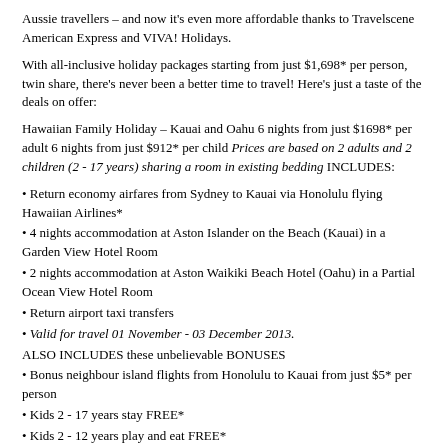Aussie travellers – and now it's even more affordable thanks to Travelscene American Express and VIVA! Holidays.
With all-inclusive holiday packages starting from just $1,698* per person, twin share, there's never been a better time to travel! Here's just a taste of the deals on offer:
Hawaiian Family Holiday – Kauai and Oahu 6 nights from just $1698* per adult 6 nights from just $912* per child Prices are based on 2 adults and 2 children (2 - 17 years) sharing a room in existing bedding INCLUDES:
Return economy airfares from Sydney to Kauai via Honolulu flying Hawaiian Airlines*
4 nights accommodation at Aston Islander on the Beach (Kauai) in a Garden View Hotel Room
2 nights accommodation at Aston Waikiki Beach Hotel (Oahu) in a Partial Ocean View Hotel Room
Return airport taxi transfers
Valid for travel 01 November - 03 December 2013.
ALSO INCLUDES these unbelievable BONUSES
Bonus neighbour island flights from Honolulu to Kauai from just $5* per person
Kids 2 - 17 years stay FREE*
Kids 2 - 12 years play and eat FREE*
Teens fly at kids prices! (Based on teens aged 12 - 17 years and kids aged 2 - 11